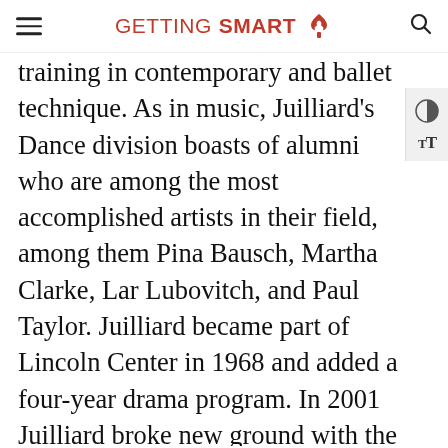GETTING SMART
training in contemporary and ballet technique. As in music, Juilliard's Dance division boasts of alumni who are among the most accomplished artists in their field, among them Pina Bausch, Martha Clarke, Lar Lubovitch, and Paul Taylor. Juilliard became part of Lincoln Center in 1968 and added a four-year drama program. In 2001 Juilliard broke new ground with the addition of its jazz program; a graduate program in Historical Performance began in fall 2009, the same year that Juilliard inaugurated its partnership with the Metropolitan Opera's Lindemann Young Artist Development Program. Currently more than 800 young artists from 44 states (plus Washington, D.C.) and 46